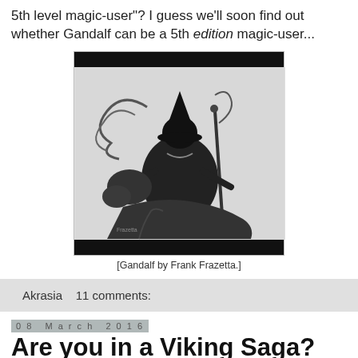5th level magic-user"? I guess we'll soon find out whether Gandalf can be a 5th edition magic-user...
[Figure (illustration): Black and white illustration of Gandalf by Frank Frazetta, seated on a twisted tree, with a staff, wearing a pointed hat, flowing robes, dramatic ink style.]
[Gandalf by Frank Frazetta.]
Akrasia    11 comments:
08 March 2016
Are you in a Viking Saga?